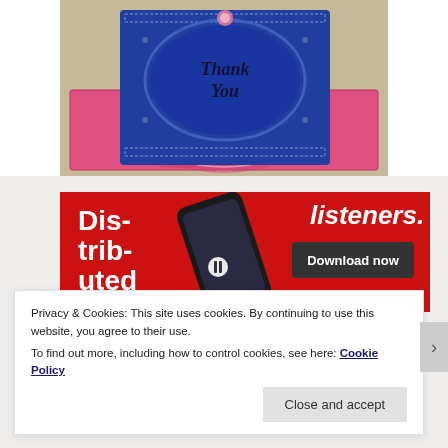[Figure (photo): A decorative paper craft card (blue and pink) standing upright on a pink envelope on a burlap surface. The card has intricate lace-like cutouts and 'Thank You' script.]
[Figure (screenshot): A red advertisement banner featuring a smartphone showing a podcast app. Text reads 'Dis-trib-uted listeners.' and 'Download now' button.]
Privacy & Cookies: This site uses cookies. By continuing to use this website, you agree to their use.
To find out more, including how to control cookies, see here: Cookie Policy
Close and accept